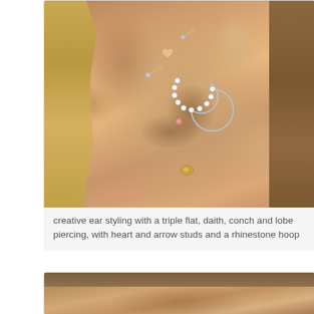[Figure (photo): Close-up photograph of a woman's ear showing multiple piercings including triple flat piercings with arrow and heart studs, a daith piercing with a rhinestone crescent hoop, a conch piercing, and a lobe piercing. Blonde hair visible on the left side.]
creative ear styling with a triple flat, daith, conch and lobe piercing, with heart and arrow studs and a rhinestone hoop
[Figure (photo): Partial close-up photograph of another ear with piercings, only the top portion visible showing hair and skin tones.]